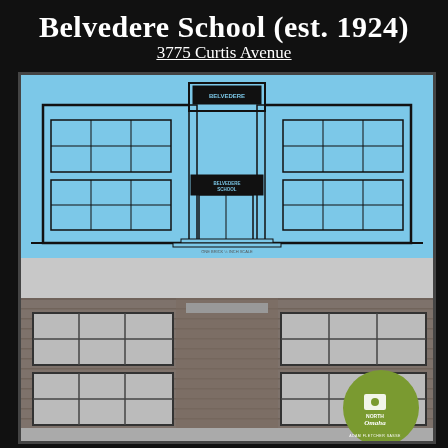Belvedere School (est. 1924)
3775 Curtis Avenue
[Figure (illustration): Architectural blueprint drawing of Belvedere School front elevation on blue background, showing two-story building with large multi-pane windows, central entrance with 'BELVEDERE SCHOOL' signage above doors, and detailed line work of the facade.]
[Figure (photo): Black and white photograph of Belvedere School exterior showing brick facade with two stories of large multi-pane windows, with North Omaha / Adam Fletcher Sasse logo badge in bottom right corner.]